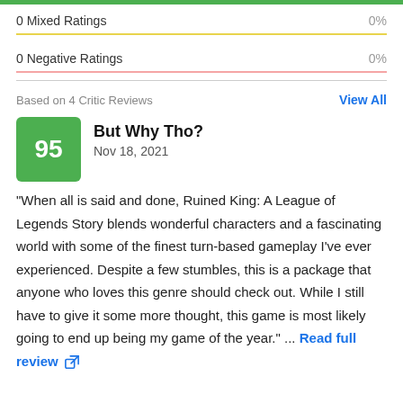0 Mixed Ratings   0%
0 Negative Ratings   0%
Based on 4 Critic Reviews
View All
95
But Why Tho?
Nov 18, 2021
"When all is said and done, Ruined King: A League of Legends Story blends wonderful characters and a fascinating world with some of the finest turn-based gameplay I've ever experienced. Despite a few stumbles, this is a package that anyone who loves this genre should check out. While I still have to give it some more thought, this game is most likely going to end up being my game of the year." ... Read full review